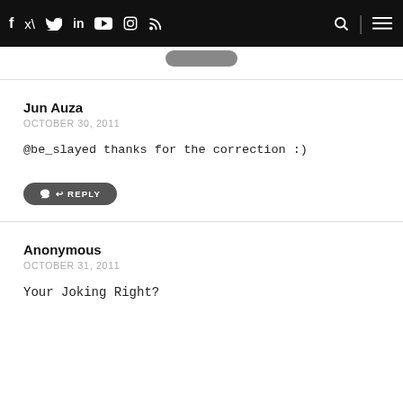Navigation bar with social icons: f, Twitter, in, YouTube, Instagram, RSS, search, menu
Jun Auza
OCTOBER 30, 2011
@be_slayed thanks for the correction :)
REPLY
Anonymous
OCTOBER 31, 2011
Your Joking Right?